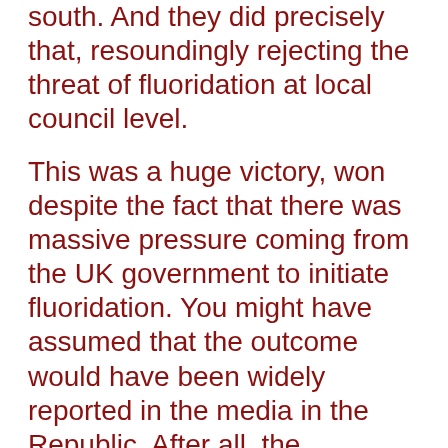south. And they did precisely that, resoundingly rejecting the threat of fluoridation at local council level.
This was a huge victory, won despite the fact that there was massive pressure coming from the UK government to initiate fluoridation. You might have assumed that the outcome would have been widely reported in the media in the Republic. After all, the campaign against fluoridation involved what was at the time a completely unprecedented cross-community, cross-party co-operation between Unionists and Nationalists.
And yet, the issue was all but ignored by the national newspapers and by RTE. It is an extraordinary omission, which perplexed campaigners at the time. Indeed it still does...